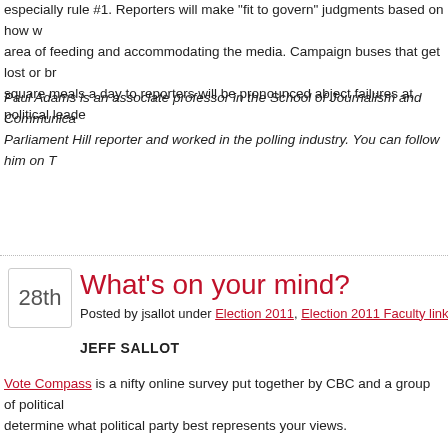especially rule #1. Reporters will make "fit to govern" judgments based on how well leaders manage the area of feeding and accommodating the media. Campaign buses that get lost or break down or fail to provide three square meals a day to reporters will be pronounced abject failures at political leadership.
Paul Adams is an associate professor in the School of Journalism and Communications at Carleton. He was a Parliament Hill reporter and worked in the polling industry. You can follow him on T
What's on your mind?
Posted by jsallot under Election 2011, Election 2011 Faculty links, Medi
JEFF SALLOT
Vote Compass is a nifty online survey put together by CBC and a group of political scientists to help you determine what political party best represents your views.
The survey covers a wide range of issues, from the economy and the environment, to gun control and mercy killing – 30 questions in all.
Log in, answer the questions, and see where you fall on the graph in relationship to
A national panel of political scientists wrote the questions and plotted party positions based on what parties themselves say they would do if elected.
The survey launched Saturday. Within two days more than 300,000 people had pa turnout will be high May 2 .) Read more